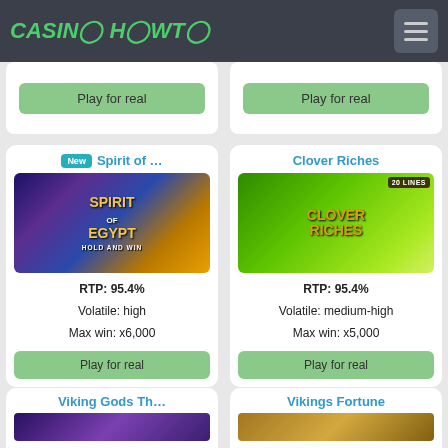CASINO HOWTO
[Figure (screenshot): Partial card with Play for real button (left)]
[Figure (screenshot): Partial card with Play for real button (right)]
[Figure (screenshot): Spirit of Egypt Hold and Win slot game card with New badge, RTP 95.4%, Volatile: high, Max win: x6,000, Play for real button]
[Figure (screenshot): Clover Riches 20 Lines slot game card with RTP 95.4%, Volatile: medium-high, Max win: x5,000, Play for real button]
[Figure (screenshot): Partial card: Viking Gods Th... with bottom image]
[Figure (screenshot): Partial card: Vikings Fortune with bottom image]